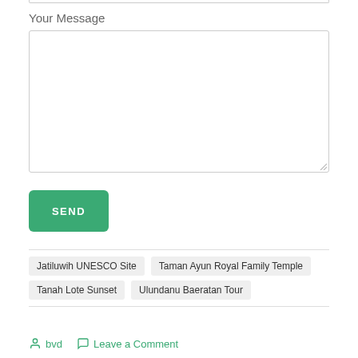Your Message
[Figure (screenshot): Empty textarea input box with resize handle]
SEND
Jatiluwih UNESCO Site
Taman Ayun Royal Family Temple
Tanah Lote Sunset
Ulundanu Baeratan Tour
bvd   Leave a Comment